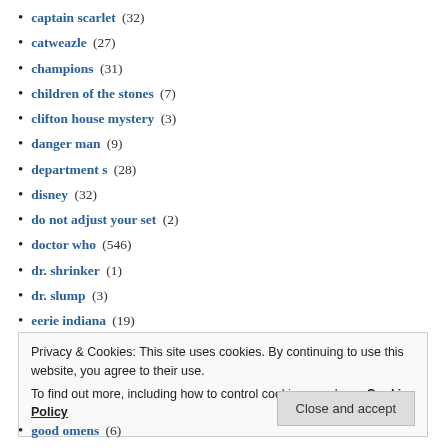captain scarlet (32)
catweazle (27)
champions (31)
children of the stones (7)
clifton house mystery (3)
danger man (9)
department s (28)
disney (32)
do not adjust your set (2)
doctor who (546)
dr. shrinker (1)
dr. slump (3)
eerie indiana (19)
electra woman and dyna girl (9)
far out space nuts (2)
farscape (31)
feathered serpent (6)
Privacy & Cookies: This site uses cookies. By continuing to use this website, you agree to their use. To find out more, including how to control cookies, see here: Cookie Policy
good omens (6)